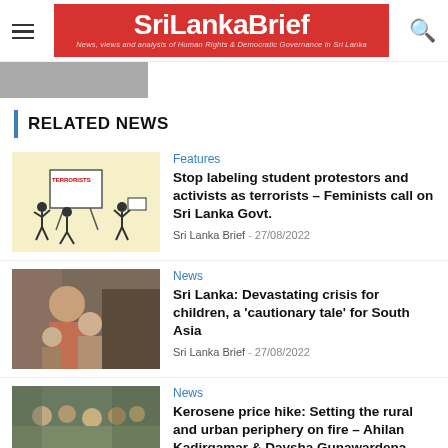SriLankaBrief — News, views and analysis of Human Rights & Democratic Governance in Sri Lanka
RELATED NEWS
[Figure (illustration): Cartoon illustration showing figures labeled TERRORISTS near an easel, with people protesting]
Features
Stop labeling student protestors and activists as terrorists – Feminists call on Sri Lanka Govt.
Sri Lanka Brief - 27/08/2022
[Figure (photo): Photo of a mother with children in poverty setting]
News
Sri Lanka: Devastating crisis for children, a 'cautionary tale' for South Asia
Sri Lanka Brief - 27/08/2022
[Figure (photo): Photo of people gathered on a street]
News
Kerosene price hike: Setting the rural and urban periphery on fire – Ahilan Kadirgamar & Daysha Gunawardena